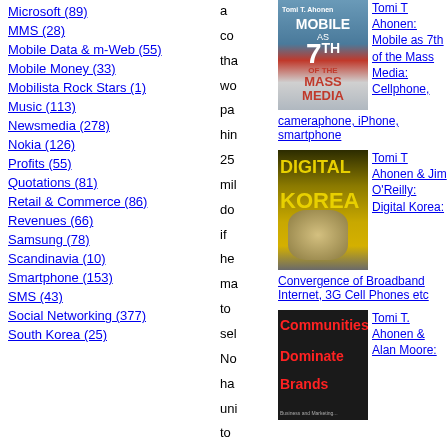Microsoft (89)
MMS (28)
Mobile Data & m-Web (55)
Mobile Money (33)
Mobilista Rock Stars (1)
Music (113)
Newsmedia (278)
Nokia (126)
Profits (55)
Quotations (81)
Retail & Commerce (86)
Revenues (66)
Samsung (78)
Scandinavia (10)
Smartphone (153)
SMS (43)
Social Networking (377)
South Korea (25)
a co tha wo pa hin 25 mil do if he ma to sel No ha uni to
[Figure (photo): Book cover: Mobile as 7th of the Mass Media: Cellphone, Cameraphone, iPhone, Smartphone by Tomi T Ahonen]
Tomi T Ahonen: Mobile as 7th of the Mass Media: Cellphone,
cameraphone, iPhone, smartphone
[Figure (photo): Book cover: Digital Korea - Convergence of Broadband Internet, 3G Cell Phones etc by Tomi T Ahonen & Jim O'Reilly]
Tomi T Ahonen & Jim O'Reilly: Digital Korea:
Convergence of Broadband Internet, 3G Cell Phones etc
[Figure (photo): Book cover: Communities Dominate Brands by Tomi T. Ahonen & Alan Moore]
Tomi T. Ahonen & Alan Moore: